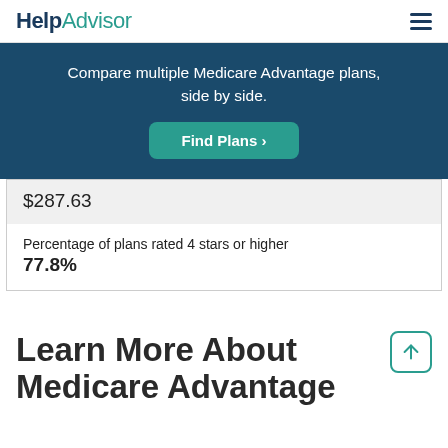HelpAdvisor
Compare multiple Medicare Advantage plans, side by side.
Find Plans >
$287.63
Percentage of plans rated 4 stars or higher
77.8%
Learn More About Medicare Advantage